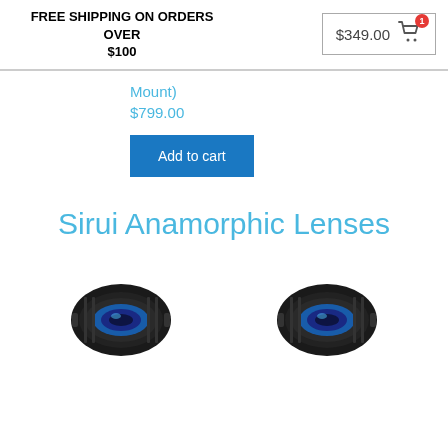FREE SHIPPING ON ORDERS OVER $100
$349.00 [cart icon with badge: 1]
Mount)
$799.00
Add to cart
Sirui Anamorphic Lenses
[Figure (photo): Two Sirui anamorphic camera lenses shown side by side]
[Figure (photo): Second Sirui anamorphic camera lens]